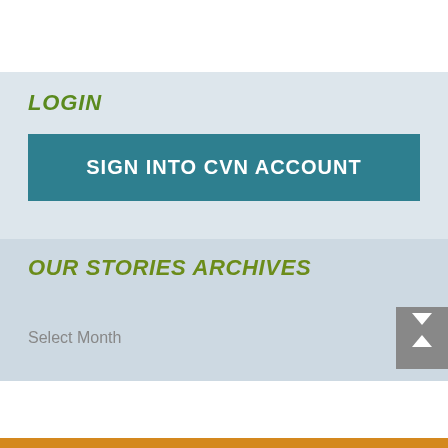LOGIN
SIGN INTO CVN ACCOUNT
OUR STORIES ARCHIVES
Select Month